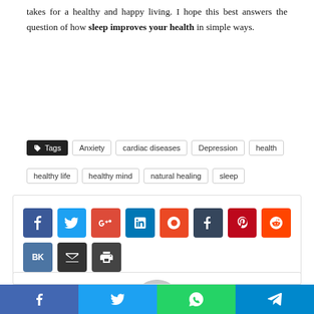takes for a healthy and happy living. I hope this best answers the question of how sleep improves your health in simple ways.
Tags: Anxiety | cardiac diseases | Depression | health | healthy life | healthy mind | natural healing | sleep
[Figure (infographic): Social share buttons: Facebook, Twitter, Google+, LinkedIn, StumbleUpon, Tumblr, Pinterest, Reddit, VK, Email, Print]
[Figure (photo): Author avatar photo - circular crop of a person with glasses]
Bottom share bar: Facebook, Twitter, WhatsApp, Telegram